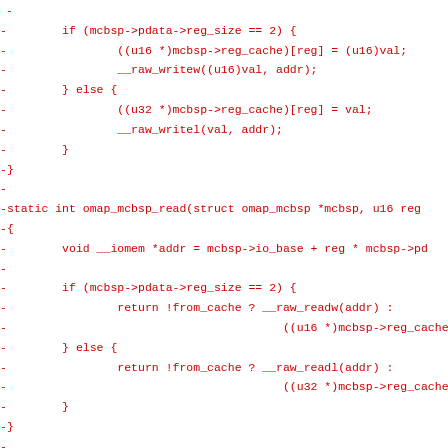- 
-        if (mcbsp->pdata->reg_size == 2) {
-                ((u16 *)mcbsp->reg_cache)[reg] = (u16)val;
-                __raw_writew((u16)val, addr);
-        } else {
-                ((u32 *)mcbsp->reg_cache)[reg] = val;
-                __raw_writel(val, addr);
-        }
-}
-
-static int omap_mcbsp_read(struct omap_mcbsp *mcbsp, u16 reg
-{
-        void __iomem *addr = mcbsp->io_base + reg * mcbsp->pd
-
-        if (mcbsp->pdata->reg_size == 2) {
-                return !from_cache ? __raw_readw(addr) :
-                                        ((u16 *)mcbsp->reg_cache
-        } else {
-                return !from_cache ? __raw_readl(addr) :
-                                        ((u32 *)mcbsp->reg_cache
-        }
-}
-
-static void omap_mcbsp_st_write(struct omap_mcbsp *mcbsp, u1
-{